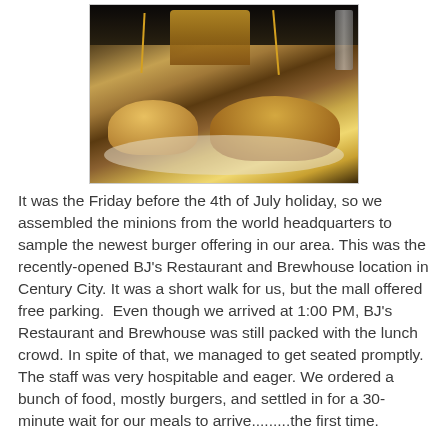[Figure (photo): Photo of two burger sliders on a white plate with french fries, toothpicks sticking out from each slider, on a dark background]
It was the Friday before the 4th of July holiday, so we assembled the minions from the world headquarters to sample the newest burger offering in our area. This was the recently-opened BJ's Restaurant and Brewhouse location in Century City. It was a short walk for us, but the mall offered free parking.  Even though we arrived at 1:00 PM, BJ's Restaurant and Brewhouse was still packed with the lunch crowd. In spite of that, we managed to get seated promptly. The staff was very hospitable and eager. We ordered a bunch of food, mostly burgers, and settled in for a 30-minute wait for our meals to arrive.........the first time.
We noted that all of the burgers were aggressively over-cooked and burned around the edges. We sent back the burgers, except for Fat Bruce Lee, and waited an addtional 18 minutes for a re-fire.  During that waiting period, I noted